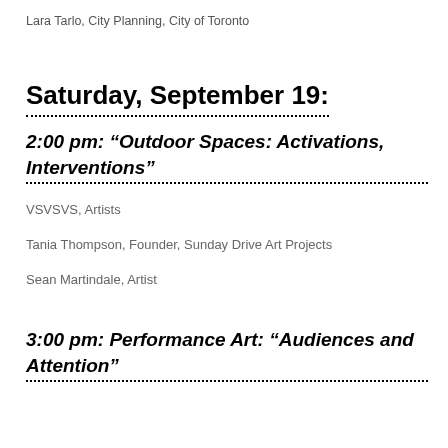Lara Tarlo, City Planning, City of Toronto
Saturday, September 19:
2:00 pm: “Outdoor Spaces: Activations, Interventions”
VSVSVS, Artists
Tania Thompson, Founder, Sunday Drive Art Projects
Sean Martindale, Artist
3:00 pm: Performance Art: “Audiences and Attention”